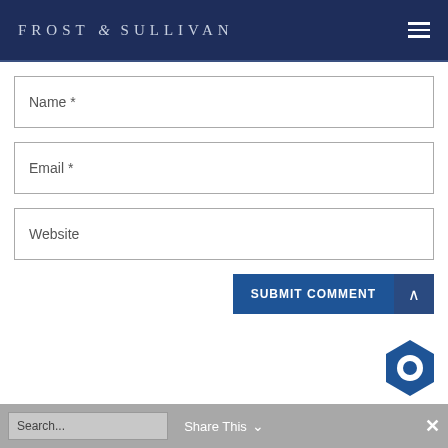FROST & SULLIVAN
Name *
Email *
Website
SUBMIT COMMENT
Search...
Share This
[Figure (logo): Frost & Sullivan hexagon chat icon, blue]
Share This ∨